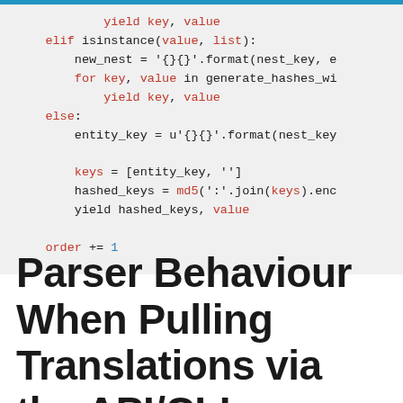[Figure (screenshot): Python code block showing generator function with yield, elif isinstance(value, list), for loop, else branch with entity_key, keys, hashed_keys, and order increment]
Parser Behaviour When Pulling Translations via the API/CLI or Exporting